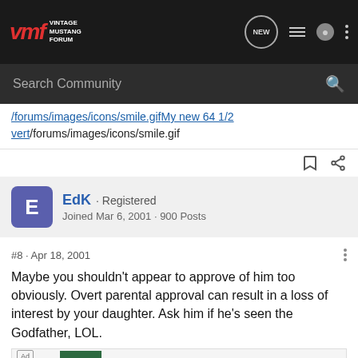VMF Vintage Mustang Forum
/forums/images/icons/smile.gif My new 64 1/2 vert/forums/images/icons/smile.gif
EdK · Registered
Joined Mar 6, 2001 · 900 Posts
#8 · Apr 18, 2001
Maybe you shouldn't appear to approve of him too obviously. Overt parental approval can result in a loss of interest by your daughter. Ask him if he's seen the Godfather, LOL.
[Figure (screenshot): Advertisement banner for Tally: PayOff Debt Faster with Download link]